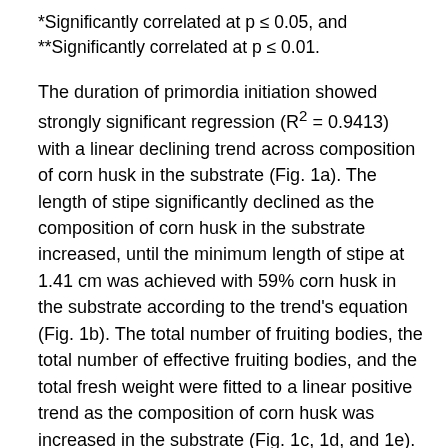*Significantly correlated at p ≤ 0.05, and **Significantly correlated at p ≤ 0.01.
The duration of primordia initiation showed strongly significant regression (R² = 0.9413) with a linear declining trend across composition of corn husk in the substrate (Fig. 1a). The length of stipe significantly declined as the composition of corn husk in the substrate increased, until the minimum length of stipe at 1.41 cm was achieved with 59% corn husk in the substrate according to the trend's equation (Fig. 1b). The total number of fruiting bodies, the total number of effective fruiting bodies, and the total fresh weight were fitted to a linear positive trend as the composition of corn husk was increased in the substrate (Fig. 1c, 1d, and 1e). The total dry weight showed significant regression (p = 0.0280) when it was fitted in a cubic model (R² =